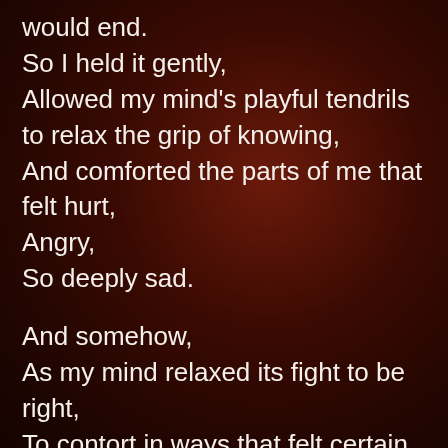would end.
So I held it gently,
Allowed my mind's playful tendrils to relax the grip of knowing,
And comforted the parts of me that felt hurt,
Angry,
So deeply sad.

And somehow,
As my mind relaxed its fight to be right,
To contort in ways that felt certain,
I felt my sovereignty,
My undefended heart.

This is how we lead everyday...